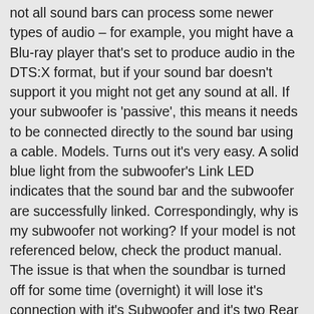not all sound bars can process some newer types of audio – for example, you might have a Blu-ray player that's set to produce audio in the DTS:X format, but if your sound bar doesn't support it you might not get any sound at all. If your subwoofer is 'passive', this means it needs to be connected directly to the sound bar using a cable. Models. Turns out it's very easy. A solid blue light from the subwoofer's Link LED indicates that the sound bar and the subwoofer are successfully linked. Correspondingly, why is my subwoofer not working? If your model is not referenced below, check the product manual. The issue is that when the soundbar is turned off for some time (overnight) it will lose it's connection with it's Subwoofer and it's two Rear Surround speakers. One may also ask, how do you reset a subwoofer? center speaker on my sound bar doesn't work. There are a few simple solutions to this problem. This means you might be missing out on a huge amount of the sound that's supposed to be in the movie you're watching. For additional details, refer to the product manuals. This can be fixed with a firmware update. This soundbar comes with the SWA-8500s. Don't place the soundbar and subwoofer in a metal cabinet. If